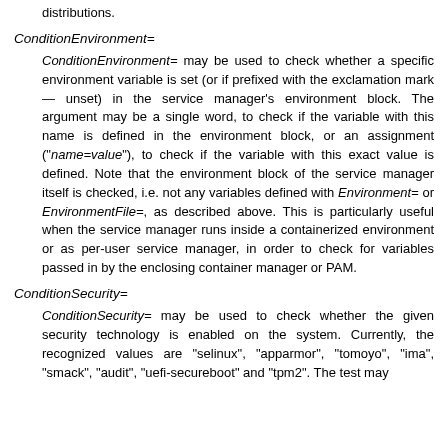distributions.
ConditionEnvironment=
ConditionEnvironment= may be used to check whether a specific environment variable is set (or if prefixed with the exclamation mark — unset) in the service manager's environment block. The argument may be a single word, to check if the variable with this name is defined in the environment block, or an assignment ("name=value"), to check if the variable with this exact value is defined. Note that the environment block of the service manager itself is checked, i.e. not any variables defined with Environment= or EnvironmentFile=, as described above. This is particularly useful when the service manager runs inside a containerized environment or as per-user service manager, in order to check for variables passed in by the enclosing container manager or PAM.
ConditionSecurity=
ConditionSecurity= may be used to check whether the given security technology is enabled on the system. Currently, the recognized values are "selinux", "apparmor", "tomoyo", "ima", "smack", "audit", "uefi-secureboot" and "tpm2". The test may